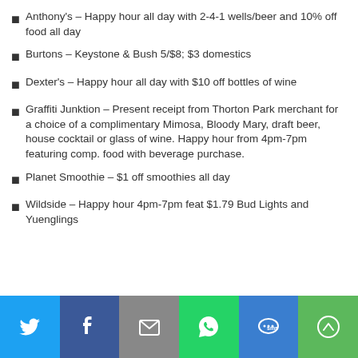Anthony's – Happy hour all day with 2-4-1 wells/beer and 10% off food all day
Burtons – Keystone & Bush 5/$8; $3 domestics
Dexter's – Happy hour all day with $10 off bottles of wine
Graffiti Junktion – Present receipt from Thorton Park merchant for a choice of a complimentary Mimosa, Bloody Mary, draft beer, house cocktail or glass of wine. Happy hour from 4pm-7pm featuring comp. food with beverage purchase.
Planet Smoothie – $1 off smoothies all day
Wildside – Happy hour 4pm-7pm feat $1.79 Bud Lights and Yuenglings